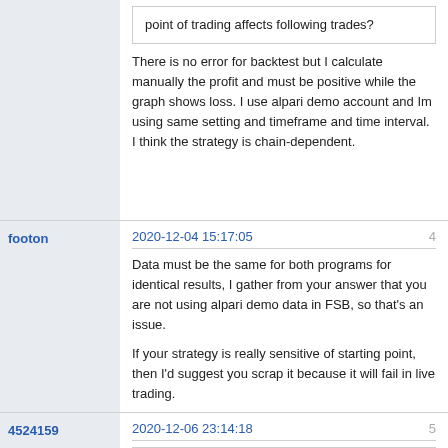point of trading affects following trades?
There is no error for backtest but I calculate manually the profit and must be positive while the graph shows loss. I use alpari demo account and Im using same setting and timeframe and time interval. I think the strategy is chain-dependent.
footon
2020-12-04 15:17:05
4
Data must be the same for both programs for identical results, I gather from your answer that you are not using alpari demo data in FSB, so that's an issue.
If your strategy is really sensitive of starting point, then I'd suggest you scrap it because it will fail in live trading.
4524159
2020-12-06 23:14:18
5
footon wrote: